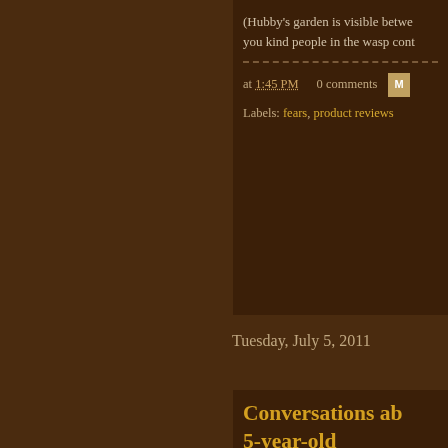(Hubby's garden is visible betwe... you kind people in the wasp cont...
at 1:45 PM   0 comments
Labels: fears, product reviews
Tuesday, July 5, 2011
Conversations ab... 5-year-old
I am slightly jealous of religious p... conversation with Max about dea... and I can see where it is so much... fairytale story to explain things to... April, I chose not to bring it up to... well and I felt it would confuse an... be better to wait until he asked qu... after she died, out of the blue he...